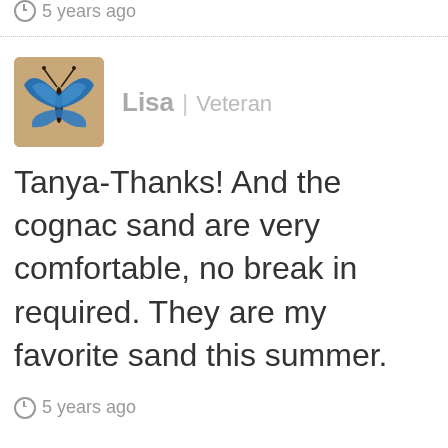5 years ago
Lisa | Veteran
Tanya-Thanks! And the cognac sand are very comfortable, no break in required. They are my favorite sand this summer.
5 years ago